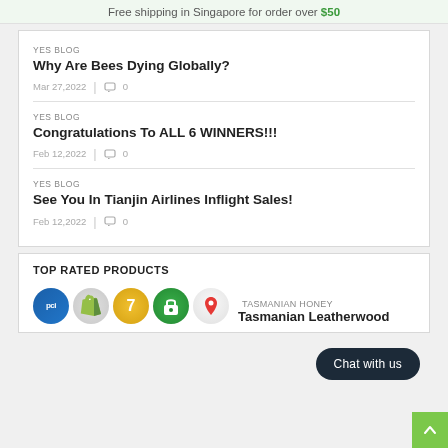Free shipping in Singapore for order over $50
YES BLOG
Why Are Bees Dying Globally?
Mar 27,2022  |  0
YES BLOG
Congratulations To ALL 6 WINNERS!!!
Feb 12,2022  |  0
YES BLOG
See You In Tianjin Airlines Inflight Sales!
Feb 12,2022  |  0
TOP RATED PRODUCTS
TASMANIAN HONEY
Tasmanian Leatherwood